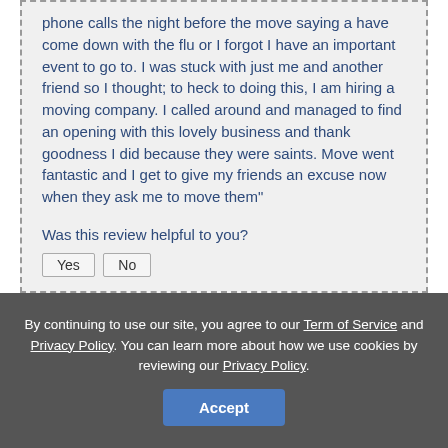phone calls the night before the move saying a have come down with the flu or I forgot I have an important event to go to. I was stuck with just me and another friend so I thought; to heck to doing this, I am hiring a moving company. I called around and managed to find an opening with this lovely business and thank goodness I did because they were saints. Move went fantastic and I get to give my friends an excuse now when they ask me to move them"
Was this review helpful to you?
By continuing to use our site, you agree to our Term of Service and Privacy Policy. You can learn more about how we use cookies by reviewing our Privacy Policy.